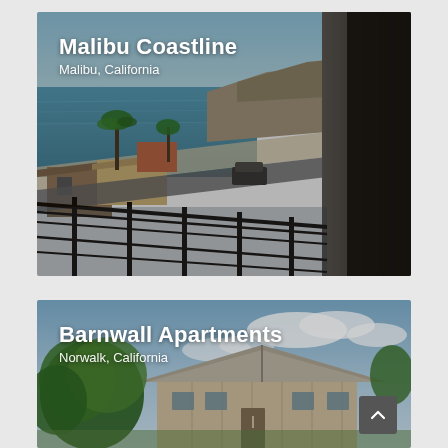[Figure (photo): Coastal view from a balcony with glass railing, showing ocean, beach, cliffs, palm trees, and rooftops in Malibu, California. Slightly darkened/overlaid photo.]
Malibu Coastline
Malibu, California
[Figure (photo): Exterior view of Barnwall Apartments in Norwalk, California — a low-rise building with trees in foreground and partly cloudy sky.]
Barnwall Apartments
Norwalk, California